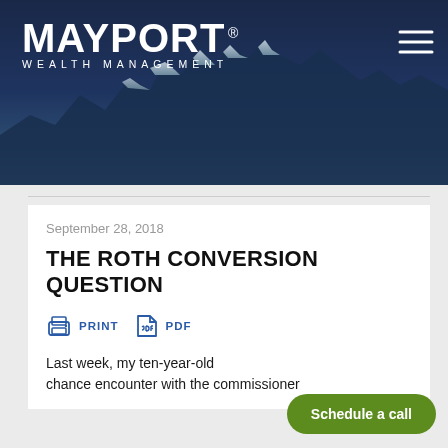[Figure (photo): Mayport Wealth Management website header with dark navy blue mountain landscape background and company logo]
MAYPORT® WEALTH MANAGEMENT
September 28, 2018
THE ROTH CONVERSION QUESTION
PRINT   PDF
Last week, my ten-year-old... chance encounter with the commissioner